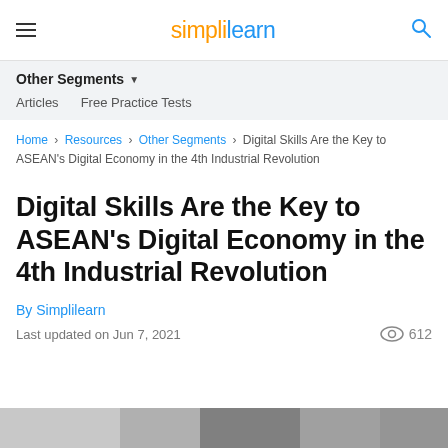simplilearn
Other Segments
Articles   Free Practice Tests
Home > Resources > Other Segments > Digital Skills Are the Key to ASEAN's Digital Economy in the 4th Industrial Revolution
Digital Skills Are the Key to ASEAN's Digital Economy in the 4th Industrial Revolution
By Simplilearn
Last updated on Jun 7, 2021   612
[Figure (photo): Partial bottom strip of an article header image]